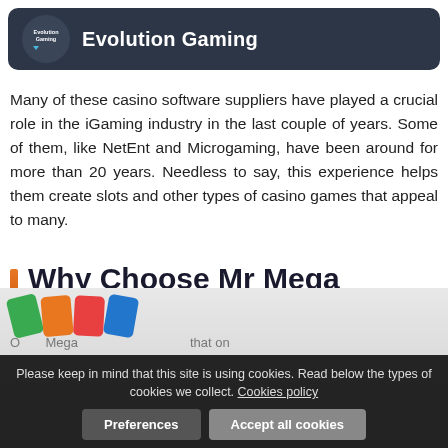[Figure (logo): Evolution Gaming logo with circular icon and white text on dark navy background banner]
Many of these casino software suppliers have played a crucial role in the iGaming industry in the last couple of years. Some of them, like NetEnt and Microgaming, have been around for more than 20 years. Needless to say, this experience helps them create slots and other types of casino games that appeal to many.
Why Choose Mr Mega Casino?
[Figure (photo): Partial image of casino playing cards (green, orange, red) with overlaid cookie consent banner]
Please keep in mind that this site is using cookies. Read below the types of cookies we collect. Cookies policy
Preferences   Accept all cookies